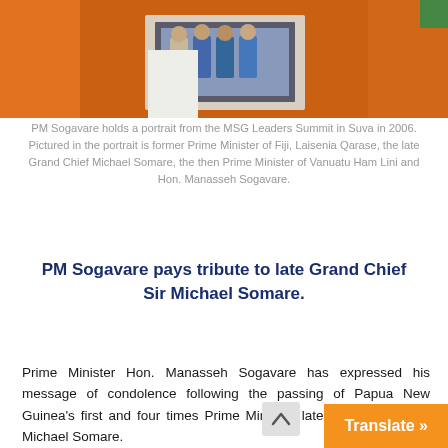[Figure (photo): PM Sogavare holding a framed portrait from the MSG Leaders Summit, with orange sofa visible in background. The portrait shows several leaders standing together.]
PM Sogavare holds a portrait from the MSG Leaders Summit in Suva in 2006. Pictured in the portrait is former Prime Minister of Fiji, Laisenia Qarase, the late Grand Chief Michael Somare, the then Prime Minister of Vanuatu Ham Lini and Hon. Manasseh Sogavare.
PM Sogavare pays tribute to late Grand Chief Sir Michael Somare.
Prime Minister Hon. Manasseh Sogavare has expressed his message of condolence following the passing of Papua New Guinea’s first and four times Prime Minister, late Grand Chief Sir. Michael Somare.
Speaking from his home shortly after his arrival from his tour to his home province last Friday, the Prime Minister stated,
“I, together with the government and people of Solomon Islands convey to the Prime Minster, th…